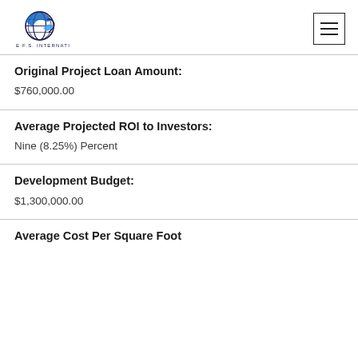[Figure (logo): E.F.S. International logo with wave/globe icon in dark navy and blue]
Original Project Loan Amount:
$760,000.00
Average Projected ROI to Investors:
Nine (8.25%) Percent
Development Budget:
$1,300,000.00
Average Cost Per Square Foot